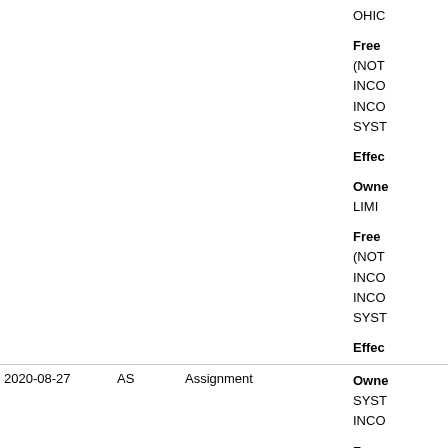| Date | Code | Type | Details |
| --- | --- | --- | --- |
|  |  |  | OHIO

Free (NOT INCO INCO SYST

Effec

Owne LIMIT

Free (NOT INCO INCO SYST

Effec |
| 2020-08-27 | AS | Assignment | Owne SYST INCO

Free ASSI RECE RECC ASSI |